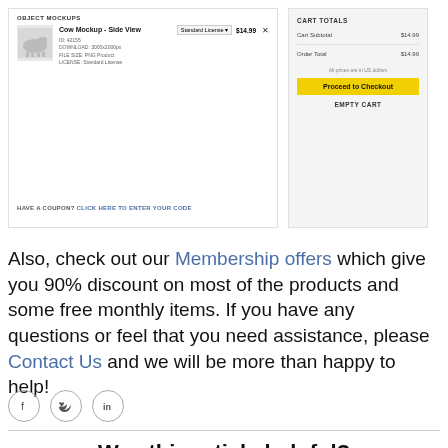[Figure (screenshot): E-commerce cart screenshot showing 'OBJECT MOCKUPS' header, a Cow Mockup - Side View product with image, details, Standard License dropdown, price $14.99, and cart totals panel with Cart Subtotal $14.99, Order Total $14.99, yellow Proceed to Checkout button, and EMPTY CART link. Also shows 'HAVE A COUPON? CLICK HERE TO ENTER YOUR CODE' link.]
Also, check out our Membership offers which give you 90% discount on most of the products and some free monthly items. If you have any questions or feel that you need assistance, please Contact Us and we will be more than happy to help!
[Figure (infographic): Three social media icons in circles: Facebook (f), Twitter (bird), LinkedIn (in)]
Was this article helpful?